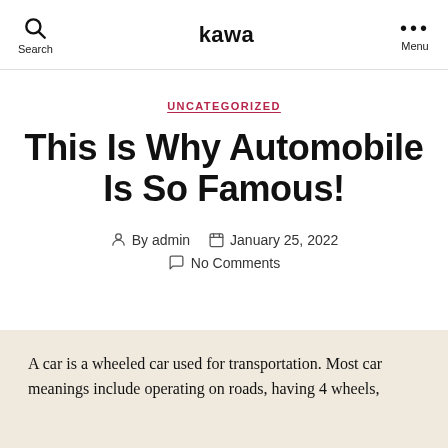Search  kawa  Menu
UNCATEGORIZED
This Is Why Automobile Is So Famous!
By admin   January 25, 2022   No Comments
A car is a wheeled car used for transportation. Most car meanings include operating on roads, having 4 wheels,